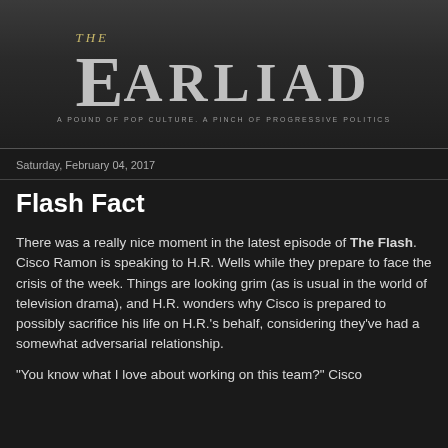[Figure (logo): The Earliad logo — large stylized 'E' with 'ARLIAD' text, tagline 'A POUND OF POP CULTURE. A PINCH OF PROGRESSIVE POLITICS']
Saturday, February 04, 2017
Flash Fact
There was a really nice moment in the latest episode of The Flash. Cisco Ramon is speaking to H.R. Wells while they prepare to face the crisis of the week. Things are looking grim (as is usual in the world of television drama), and H.R. wonders why Cisco is prepared to possibly sacrifice his life on H.R.'s behalf, considering they've had a somewhat adversarial relationship.
"You know what I love about working on this team?" Cisco